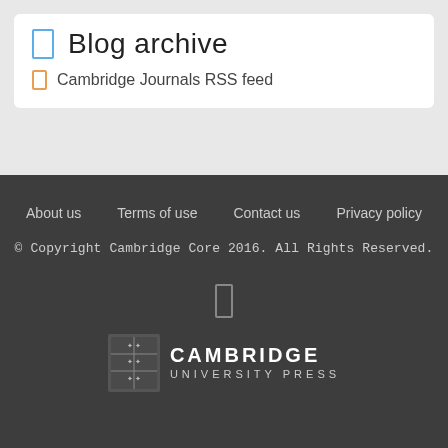Blog archive
Cambridge Journals RSS feed
About us  Terms of use  Contact us  Privacy policy
© Copyright Cambridge Core 2016. All Rights Reserved.